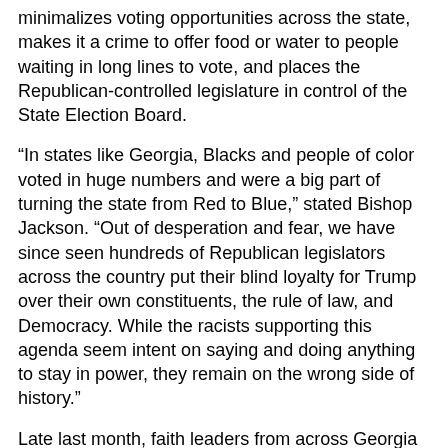minimalizes voting opportunities across the state, makes it a crime to offer food or water to people waiting in long lines to vote, and places the Republican-controlled legislature in control of the State Election Board.
“In states like Georgia, Blacks and people of color voted in huge numbers and were a big part of turning the state from Red to Blue,” stated Bishop Jackson. “Out of desperation and fear, we have since seen hundreds of Republican legislators across the country put their blind loyalty for Trump over their own constituents, the rule of law, and Democracy. While the racists supporting this agenda seem intent on saying and doing anything to stay in power, they remain on the wrong side of history.”
Late last month, faith leaders from across Georgia called on a national boycott of The Home Depot after being one of the only Georgia-based corporations to repeatedly rebuff the state’s faith community efforts to discuss the racist legislation, the alliance of pastors stated.
In the two weeks that have followed since The Home Depot boycott was announced, the number of states that have...